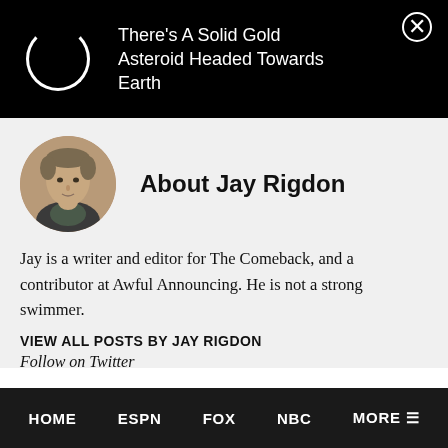There's A Solid Gold Asteroid Headed Towards Earth
About Jay Rigdon
[Figure (photo): Circular profile photo of Jay Rigdon, a man with short brown hair]
Jay is a writer and editor for The Comeback, and a contributor at Awful Announcing. He is not a strong swimmer.
VIEW ALL POSTS BY JAY RIGDON
Follow on Twitter
HOME  ESPN  FOX  NBC  MORE